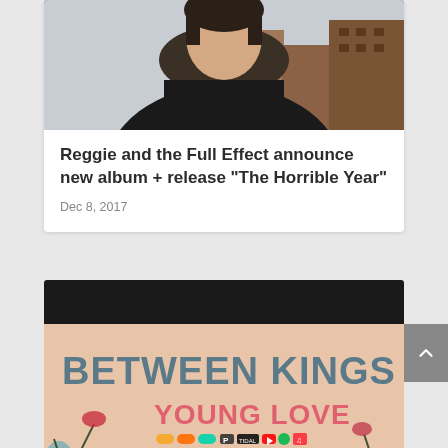[Figure (photo): Photo of a person wearing a dark winter coat with fur-trimmed hood, with urban buildings in the background in winter]
Reggie and the Full Effect announce new album + release “The Horrible Year”
Dec 8, 2017
[Figure (illustration): Between Kings - Young Love album promotion advertisement with peach/pink background, teal serif text reading BETWEEN KINGS, pink text reading YOUNG LOVE, streaming platform icons, OUT NOW text, and colorful floral/nature decorative illustration elements]